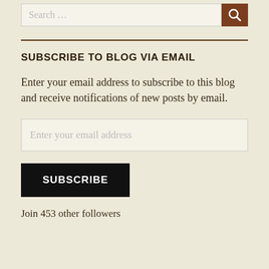Search …
SUBSCRIBE TO BLOG VIA EMAIL
Enter your email address to subscribe to this blog and receive notifications of new posts by email.
Enter your email address
SUBSCRIBE
Join 453 other followers